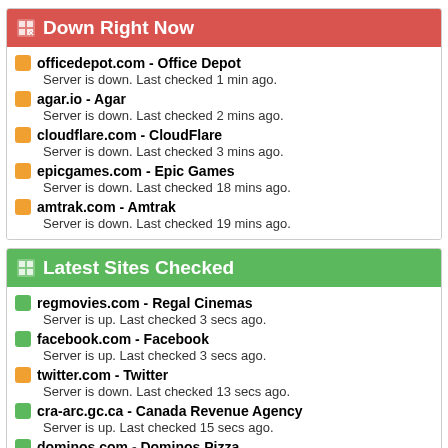Down Right Now
officedepot.com - Office Depot
Server is down. Last checked 1 min ago.
agar.io - Agar
Server is down. Last checked 2 mins ago.
cloudflare.com - CloudFlare
Server is down. Last checked 3 mins ago.
epicgames.com - Epic Games
Server is down. Last checked 18 mins ago.
amtrak.com - Amtrak
Server is down. Last checked 19 mins ago.
Latest Sites Checked
regmovies.com - Regal Cinemas
Server is up. Last checked 3 secs ago.
facebook.com - Facebook
Server is up. Last checked 3 secs ago.
twitter.com - Twitter
Server is down. Last checked 13 secs ago.
cra-arc.gc.ca - Canada Revenue Agency
Server is up. Last checked 15 secs ago.
dominos.com - Dominos Pizza